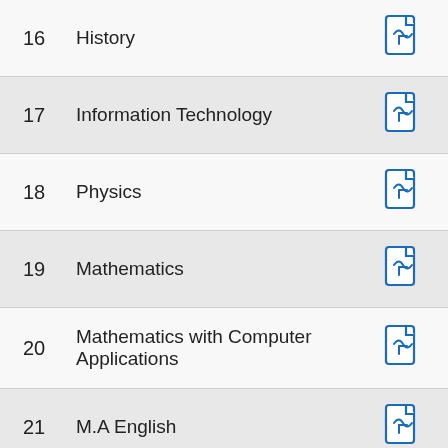| # | Subject | Download |
| --- | --- | --- |
| 16 | History | [PDF] |
| 17 | Information Technology | [PDF] |
| 18 | Physics | [PDF] |
| 19 | Mathematics | [PDF] |
| 20 | Mathematics with Computer Applications | [PDF] |
| 21 | M.A English | [PDF] |
| 22 | M.A Tamil | [PDF] |